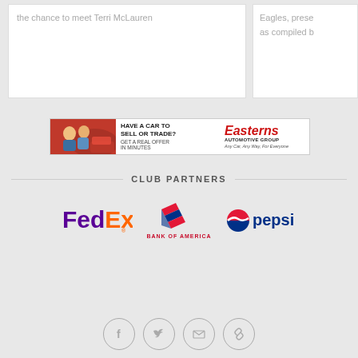the chance to meet Terri McLauren
Eagles, prese... as compiled b...
[Figure (photo): Advertisement banner for Easterns Automotive Group: photo of a couple with a car, text 'HAVE A CAR TO SELL OR TRADE? GET A REAL OFFER IN MINUTES', Easterns Automotive Group logo, tagline 'Any Car, Any Way, For Everyone']
CLUB PARTNERS
[Figure (logo): FedEx logo in purple and orange]
[Figure (logo): Bank of America logo with red/blue flag icon and text BANK OF AMERICA]
[Figure (logo): Pepsi logo with circle and pepsi text in blue]
[Figure (infographic): Social media icons row: Facebook, Twitter, Email, Link]